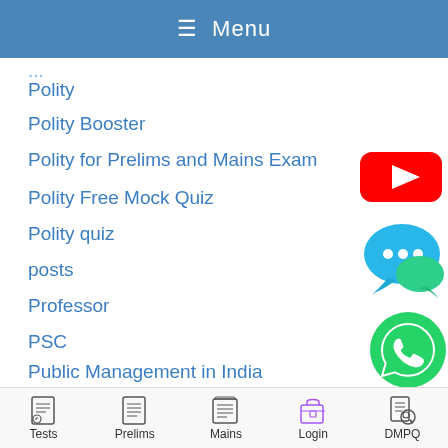≡ Menu
Polity
Polity Booster
Polity for Prelims and Mains Exam
Polity Free Mock Quiz
Polity quiz
posts
Professor
PSC
Public Management in India
READ
sarkari
[Figure (logo): YouTube logo - red rectangle with white play button triangle]
[Figure (logo): Chat bubble icon - blue/teal speech bubble with three dots]
[Figure (logo): WhatsApp icon - green circle with white phone handset]
Tests  Prelims  Mains  Login  DMPQ